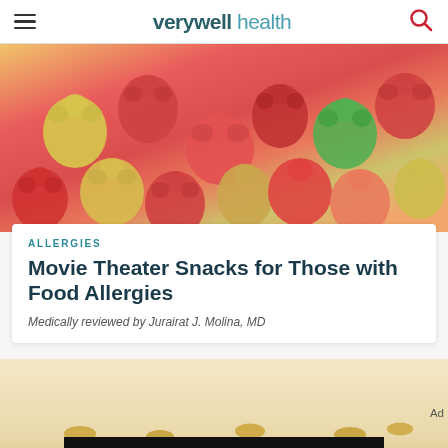verywell health
[Figure (photo): Colorful sugar-coated gummy bear candies in red, yellow, green, and orange colors, piled together]
ALLERGIES
Movie Theater Snacks for Those with Food Allergies
Medically reviewed by Jurairat J. Molina, MD
[Figure (photo): Close-up of peanuts on a light tan surface]
We help people find answers, solve problems and get inspired.